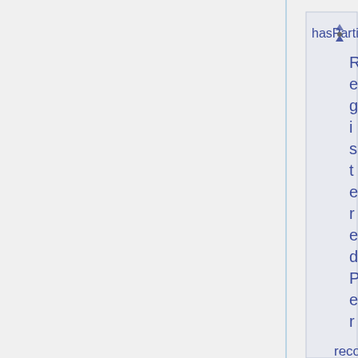[Figure (other): A software ontology/UML-style diagram showing a box labeled 'hasParticipantRole' with a sort icon, and a vertical column label reading 'RegisteredPerson' with 'reco' partially visible at bottom right.]